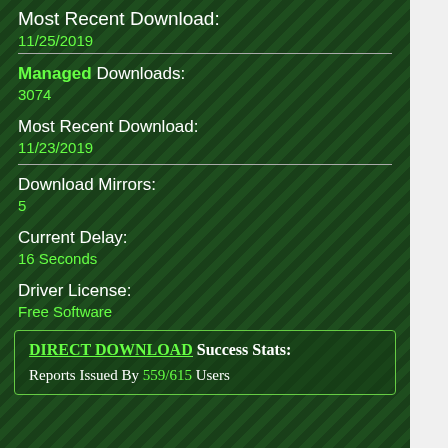Most Recent Download:
11/25/2019
Managed Downloads:
3074
Most Recent Download:
11/23/2019
Download Mirrors:
5
Current Delay:
16 Seconds
Driver License:
Free Software
DIRECT DOWNLOAD Success Stats:
Reports Issued By 559/615 Users